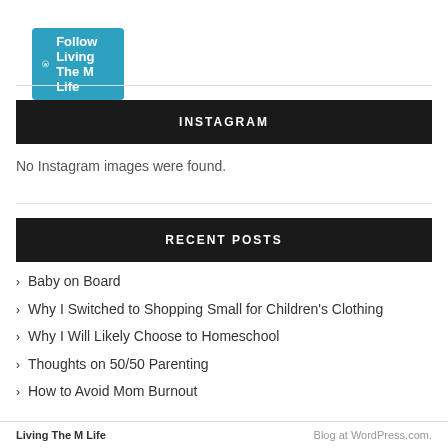[Figure (other): Follow Living The M Life button with WordPress icon on teal/blue background]
INSTAGRAM
No Instagram images were found.
RECENT POSTS
Baby on Board
Why I Switched to Shopping Small for Children's Clothing
Why I Will Likely Choose to Homeschool
Thoughts on 50/50 Parenting
How to Avoid Mom Burnout
Living The M Life    Blog at WordPress.com.